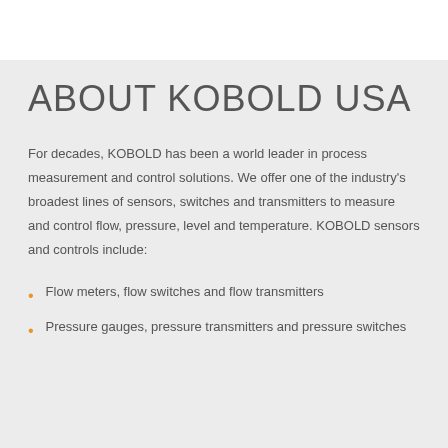ABOUT KOBOLD USA
For decades, KOBOLD has been a world leader in process measurement and control solutions. We offer one of the industry's broadest lines of sensors, switches and transmitters to measure and control flow, pressure, level and temperature. KOBOLD sensors and controls include:
Flow meters, flow switches and flow transmitters
Pressure gauges, pressure transmitters and pressure switches